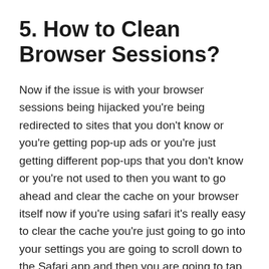5. How to Clean Browser Sessions?
Now if the issue is with your browser sessions being hijacked you're being redirected to sites that you don't know or you're getting pop-up ads or you're just getting different pop-ups that you don't know or you're not used to then you want to go ahead and clear the cache on your browser itself now if you're using safari it's really easy to clear the cache you're just going to go into your settings you are going to scroll down to the Safari app and then you are going to tap on the clear history and website data make sure that's highlighted and then just clear all that information out and it.
It actually does a pretty good job of just getting your browser completely back over to your control that way there are no cookies or anything saved within the browser itself